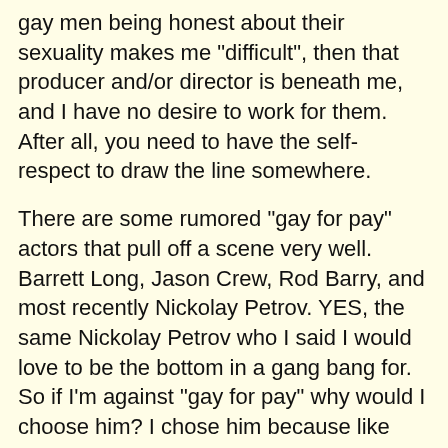gay men being honest about their sexuality makes me "difficult", then that producer and/or director is beneath me, and I have no desire to work for them. After all, you need to have the self-respect to draw the line somewhere.
There are some rumored "gay for pay" actors that pull off a scene very well. Barrett Long, Jason Crew, Rod Barry, and most recently Nickolay Petrov. YES, the same Nickolay Petrov who I said I would love to be the bottom in a gang bang for. So if I'm against "gay for pay" why would I choose him? I chose him because like Barrett Long, Jason Crew, and Rod Barry, Nickolay Petrov fucks a man's ass with so much passion, that he makes you wonder, "Is he really straight, or is he just refusing to call himself bisexual?"
And what is so wrong with being bi with a straight preference, and using your appearances in porno movies and events as a way to let out whatever part of you that is gay? Nothing at all.
Now I am not in these guys heads, so I can't really say that is the case with any or all of them. I do recall Rod Barry once saying in an interview that he was a straight man, but is...